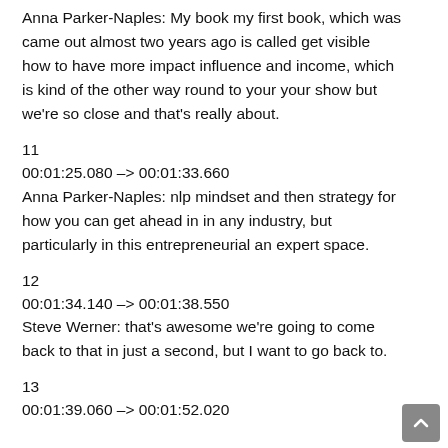Anna Parker-Naples: My book my first book, which was came out almost two years ago is called get visible how to have more impact influence and income, which is kind of the other way round to your your show but we’re so close and that’s really about.
11
00:01:25.080 –> 00:01:33.660
Anna Parker-Naples: nlp mindset and then strategy for how you can get ahead in in any industry, but particularly in this entrepreneurial an expert space.
12
00:01:34.140 –> 00:01:38.550
Steve Werner: that’s awesome we’re going to come back to that in just a second, but I want to go back to.
13
00:01:39.060 –> 00:01:52.020